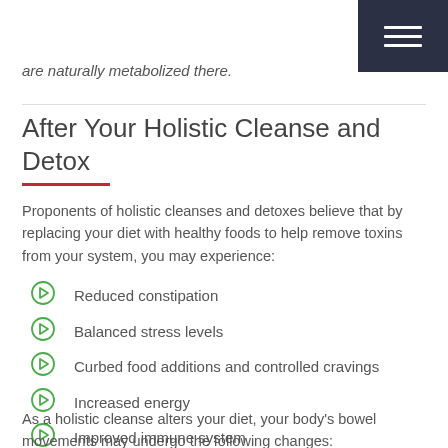are naturally metabolized there.
After Your Holistic Cleanse and Detox
Proponents of holistic cleanses and detoxes believe that by replacing your diet with healthy foods to help remove toxins from your system, you may experience:
Reduced constipation
Balanced stress levels
Curbed food additions and controlled cravings
Increased energy
Improved immune system
As a holistic cleanse alters your diet, your body's bowel movements may undergo the following changes: